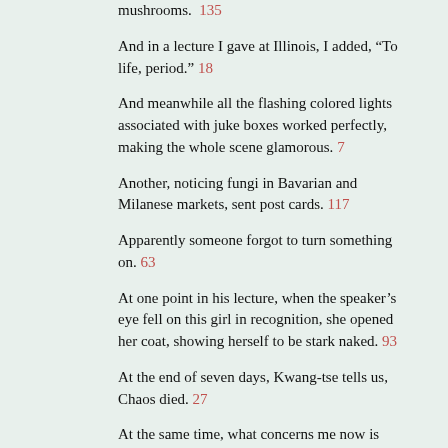mushrooms. 135
And in a lecture I gave at Illinois, I added, “To life, period.” 18
And meanwhile all the flashing colored lights associated with juke boxes worked perfectly, making the whole scene glamorous. 7
Another, noticing fungi in Bavarian and Milanese markets, sent post cards. 117
Apparently someone forgot to turn something on. 63
At one point in his lecture, when the speaker’s eye fell on this girl in recognition, she opened her coat, showing herself to be stark naked. 93
At the end of seven days, Kwang-tse tells us, Chaos died. 27
At the same time, what concerns me now is quantity. 104
But consider, my dear, how dull life would be without a little uncertainty in it.” 108
But I have a very serious question to ask you: How do you feel about Bach? 51